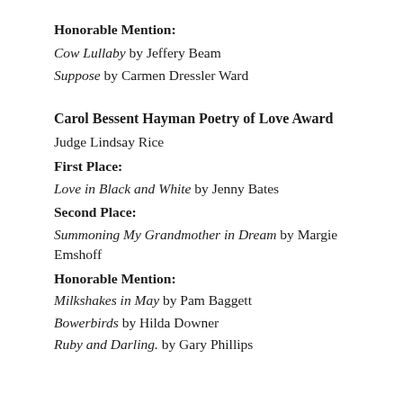Honorable Mention:
Cow Lullaby by Jeffery Beam
Suppose by Carmen Dressler Ward
Carol Bessent Hayman Poetry of Love Award
Judge Lindsay Rice
First Place:
Love in Black and White by Jenny Bates
Second Place:
Summoning My Grandmother in Dream by Margie Emshoff
Honorable Mention:
Milkshakes in May by Pam Baggett
Bowerbirds by Hilda Downer
Ruby and Darling. by Gary Phillips